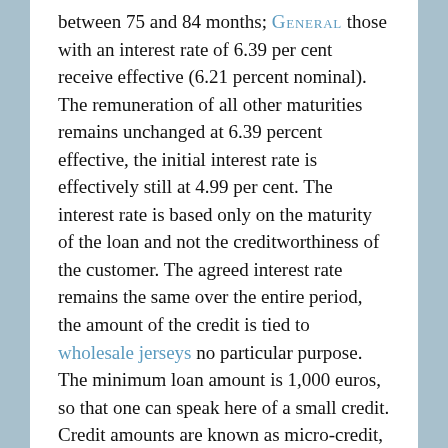between 75 and 84 months; GENERAL those with an interest rate of 6.39 per cent receive effective (6.21 percent nominal). The remuneration of all other maturities remains unchanged at 6.39 percent effective, the initial interest rate is effectively still at 4.99 per cent. The interest rate is based only on the maturity of the loan and not the creditworthiness of the customer. The agreed interest rate remains the same over the entire period, the amount of the credit is tied to wholesale jerseys no particular purpose. The minimum loan amount is 1,000 euros, so that one can speak here of a small credit. Credit amounts are known as micro-credit, which is no more than about Cheap Jerseys 2,500 euros.
Small loans oakley outlet can be used among other things to finance vacations, furniture or car repairs. There is just to much is low credit totals, starting approximately at 500 euros, there are only a few banks offer small loans. Maximum netbank gives a